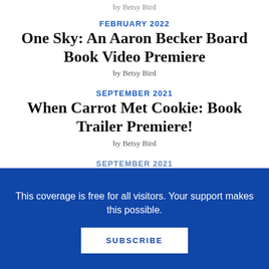by Betsy Bird
FEBRUARY 2022
One Sky: An Aaron Becker Board Book Video Premiere
by Betsy Bird
SEPTEMBER 2021
When Carrot Met Cookie: Book Trailer Premiere!
by Betsy Bird
SEPTEMBER 2021
This coverage is free for all visitors. Your support makes this possible.
SUBSCRIBE